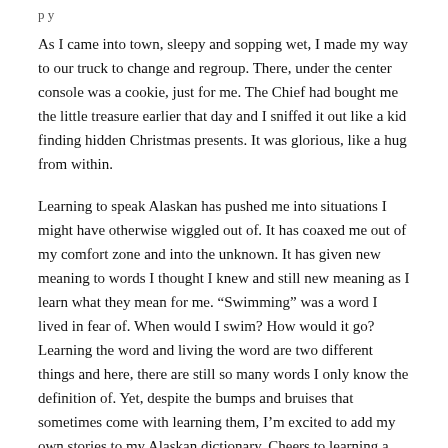p y
As I came into town, sleepy and sopping wet, I made my way to our truck to change and regroup. There, under the center console was a cookie, just for me. The Chief had bought me the little treasure earlier that day and I sniffed it out like a kid finding hidden Christmas presents. It was glorious, like a hug from within.
Learning to speak Alaskan has pushed me into situations I might have otherwise wiggled out of. It has coaxed me out of my comfort zone and into the unknown. It has given new meaning to words I thought I knew and still new meaning as I learn what they mean for me. “Swimming” was a word I lived in fear of. When would I swim? How would it go? Learning the word and living the word are two different things and here, there are still so many words I only know the definition of. Yet, despite the bumps and bruises that sometimes come with learning them, I’m excited to add my own stories to my Alaskan dictionary. Cheers to learning a new language, even in the place you call home and to learning a new side of you along the way.